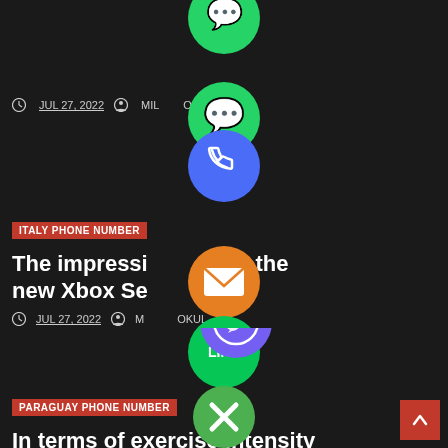JUL 27, 2022   MILOKUL
[Figure (illustration): WhatsApp green bubble icon overlapping card 1 and card 2]
[Figure (illustration): Blue phone call bubble icon overlapping above card 2]
ITALY PHONE NUMBER
The impression from the new Xbox Series X its
JUL 27, 2022   MILOKUL
[Figure (illustration): Orange envelope/email bubble icon in center]
[Figure (illustration): Green LINE chat bubble icon overlapping card 2 and card 3]
[Figure (illustration): Purple Viber bubble icon in card 3]
PARAGUAY PHONE NUMBER
In terms of exercise intensity
[Figure (illustration): Green X close button bubble icon]